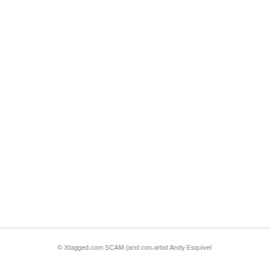© Xtagged.com SCAM (and con-artist Andy Esquivel